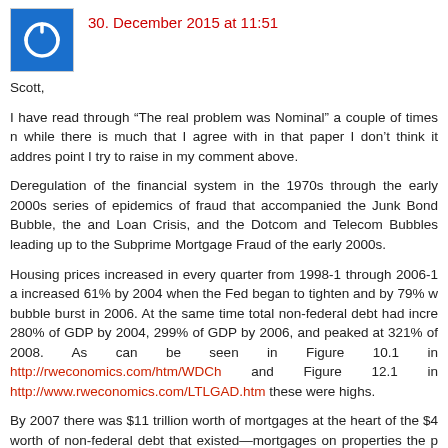30. December 2015 at 11:51
Scott,
I have read through “The real problem was Nominal” a couple of times n while there is much that I agree with in that paper I don’t think it addres point I try to raise in my comment above.
Deregulation of the financial system in the 1970s through the early 2000s series of epidemics of fraud that accompanied the Junk Bond Bubble, the and Loan Crisis, and the Dotcom and Telecom Bubbles leading up to the Subprime Mortgage Fraud of the early 2000s.
Housing prices increased in every quarter from 1998-1 through 2006-1 a increased 61% by 2004 when the Fed began to tighten and by 79% w bubble burst in 2006. At the same time total non-federal debt had incre 280% of GDP by 2004, 299% of GDP by 2006, and peaked at 321% of 2008. As can be seen in Figure 10.1 in http://rweconomics.com/htm/WDCh and Figure 12.1 in http://www.rweconomics.com/LTLGAD.htm these were highs.
By 2007 there was $11 trillion worth of mortgages at the heart of the $4 worth of non-federal debt that existed—mortgages on properties the p which had been inflated by the housing bubble that the Subprime Mortga had helped to create. In addition, there were some $500 trillion worth of de contracts outstanding in 2007 that had been created in the absence of any government regulation that would ensured the viability of these contrac leverage in financial institution had reached historic levels as well.